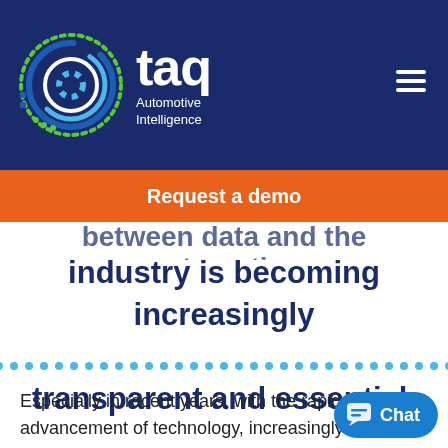[Figure (logo): TAQ Automotive Intelligence logo — circular gear/tech icon in blue, green, and white, with 'taq' in bold white text and 'Automotive Intelligence' subtitle, on dark navy background with hamburger menu icon]
Request a demo
between data and the automotive
industry is becoming increasingly transparent and essential.
Especially in recent years, with the rapid advancement of technology, increasingly niche, and higher customer expectations, the supply chain